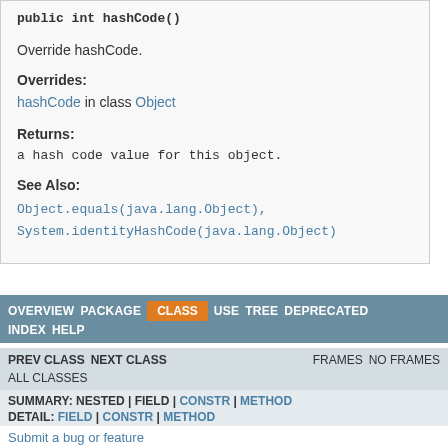public int hashCode()
Override hashCode.
Overrides:
hashCode in class Object
Returns:
a hash code value for this object.
See Also:
Object.equals(java.lang.Object), System.identityHashCode(java.lang.Object)
OVERVIEW  PACKAGE  CLASS  USE  TREE  DEPRECATED  INDEX  HELP  PREV CLASS  NEXT CLASS  FRAMES  NO FRAMES  ALL CLASSES  SUMMARY: NESTED | FIELD | CONSTR | METHOD  DETAIL: FIELD | CONSTR | METHOD  Submit a bug or feature  For further API reference and developer documentation, see java SE
Submit a bug or feature
For further API reference and developer documentation, see java Se